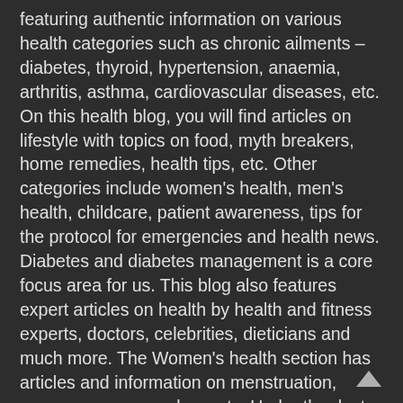featuring authentic information on various health categories such as chronic ailments – diabetes, thyroid, hypertension, anaemia, arthritis, asthma, cardiovascular diseases, etc. On this health blog, you will find articles on lifestyle with topics on food, myth breakers, home remedies, health tips, etc. Other categories include women's health, men's health, childcare, patient awareness, tips for the protocol for emergencies and health news. Diabetes and diabetes management is a core focus area for us. This blog also features expert articles on health by health and fitness experts, doctors, celebrities, dieticians and much more. The Women's health section has articles and information on menstruation, pregnancy, gynaecology, etc. Under the doctor speak section, we have authentic articles by renowned doctors and medical experts from their field. The lifestyle section talks about food habits, home remedies, psychology, fitness and much more. PharmEasy's health blog section is an extension of the online aggregator business. This is because PharmEasy believes that along with delivering 100% authentic medicines to their customers, it is up to them to inform and educate their customers about various diseases, health issues, and lifest...